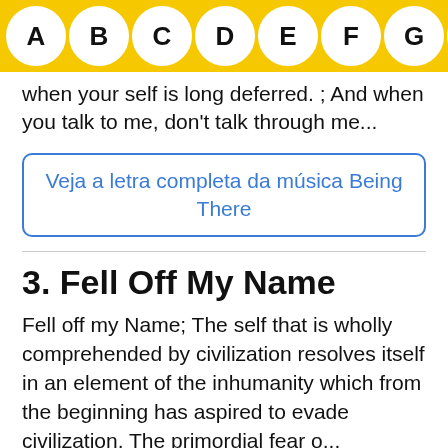A B C D E F G H I J
when your self is long deferred. ; And when you talk to me, don't talk through me...
Veja a letra completa da música Being There
3. Fell Off My Name
Fell off my Name; The self that is wholly comprehended by civilization resolves itself in an element of the inhumanity which from the beginning has aspired to evade civilization. The primordial fear o...